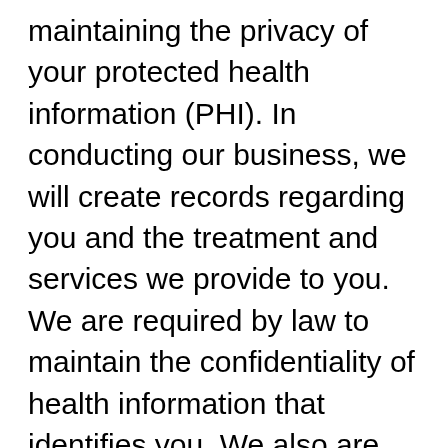maintaining the privacy of your protected health information (PHI). In conducting our business, we will create records regarding you and the treatment and services we provide to you. We are required by law to maintain the confidentiality of health information that identifies you. We also are required by law to provide you with this notice of our legal duties and the privacy practices that we maintain in our practice concerning your PHI, and to notify affected individuals following a breach of unsecured PHI. This Notice of Privacy Practices (Notice) summarizes our duties and your rights concerning your health information. Our duties and your rights are set forth more fully